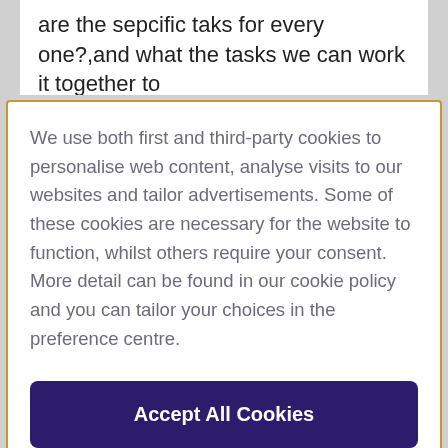are the sepcific taks for every one?,and what the tasks we can work it together to
We use both first and third-party cookies to personalise web content, analyse visits to our websites and tailor advertisements. Some of these cookies are necessary for the website to function, whilst others require your consent. More detail can be found in our cookie policy and you can tailor your choices in the preference centre.
Accept All Cookies
Cookies Settings